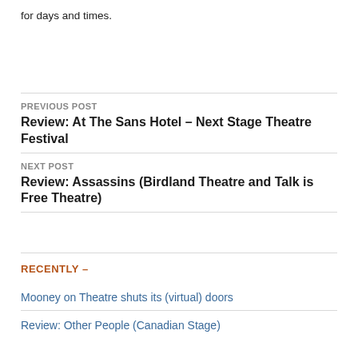for days and times.
PREVIOUS POST
Review: At The Sans Hotel – Next Stage Theatre Festival
NEXT POST
Review: Assassins (Birdland Theatre and Talk is Free Theatre)
RECENTLY –
Mooney on Theatre shuts its (virtual) doors
Review: Other People (Canadian Stage)